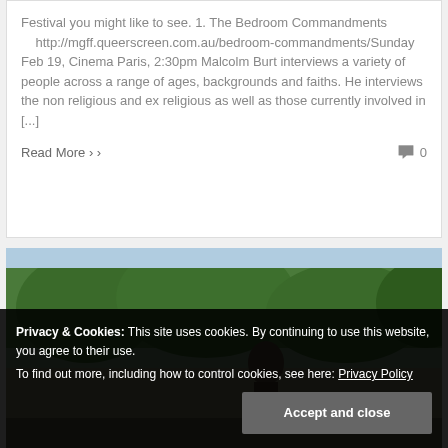Festival you might like to see.  1. The Bedroom Commandments
    http://mgff.queerscreen.com.au/bedroom-commandments/Sunday Feb 19, Cinema Paris, 2:30pm
Malcolm Burt interviews a variety of people across a range of ages, backgrounds and faiths. He interviews the non religious and ex religious as well as those currently involved in [...]
Read More ›
0
[Figure (photo): Outdoor photograph showing trees and a person, partially visible, appearing to be taken in a park or garden setting.]
Privacy & Cookies: This site uses cookies. By continuing to use this website, you agree to their use.
To find out more, including how to control cookies, see here: Privacy Policy
Accept and close